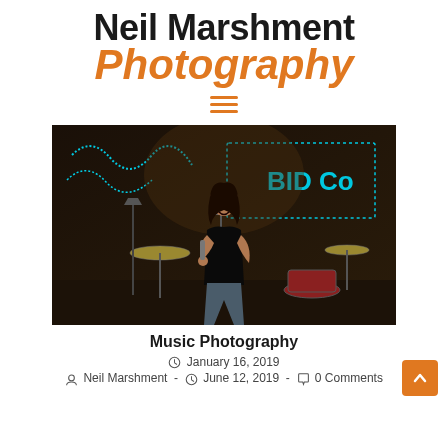Neil Marshment Photography
[Figure (photo): A female singer performing on stage at a venue with 'BIDCo' neon sign in the background, holding a microphone, with drum kit visible behind her.]
Music Photography
January 16, 2019
Neil Marshment - June 12, 2019 - 0 Comments